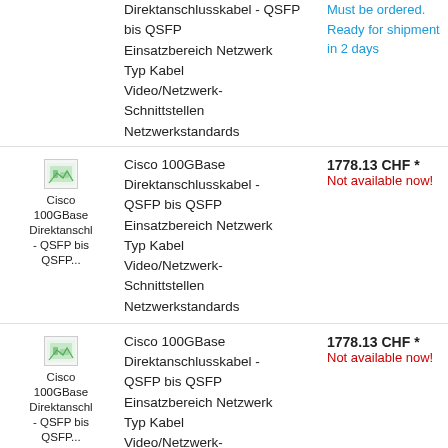Direktanschlusskabel - QSFP bis QSFP Einsatzbereich Netzwerk Typ Kabel Video/Netzwerk-Schnittstellen Netzwerkstandards
Must be ordered. Ready for shipment in 2 days
[Figure (photo): Product thumbnail image for Cisco 100GBase Direktanschlusskabel - QSFP bis QSFP]
Cisco 100GBase Direktanschl - QSFP bis QSFP...
Cisco 100GBase Direktanschlusskabel - QSFP bis QSFP Einsatzbereich Netzwerk Typ Kabel Video/Netzwerk-Schnittstellen Netzwerkstandards
1778.13 CHF *
Not available now!
[Figure (photo): Product thumbnail image for Cisco 100GBase Direktanschlusskabel - QSFP bis QSFP]
Cisco 100GBase Direktanschl - QSFP bis QSFP...
Cisco 100GBase Direktanschlusskabel - QSFP bis QSFP Einsatzbereich Netzwerk Typ Kabel Video/Netzwerk-Schnittstellen Netzwerkstandards
1778.13 CHF *
Not available now!
[Figure (photo): Product thumbnail image for Cisco 100GBase Direktanschlusskabel - QSFP bis QSFP]
Cisco 100GBase Direktanschl...
Cisco 100GBase Direktanschlusskabel - QSFP bis QSFP Einsatzbereich Netzwerk Typ Kabel Video/Netzwerk-Schnittstellen